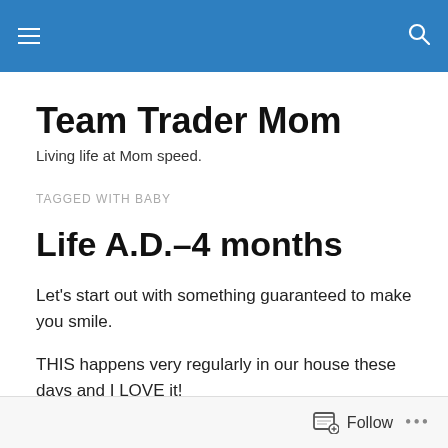Team Trader Mom — navigation header bar
Team Trader Mom
Living life at Mom speed.
TAGGED WITH BABY
Life A.D.–4 months
Let's start out with something guaranteed to make you smile.
THIS happens very regularly in our house these days and I LOVE it!
Follow ...